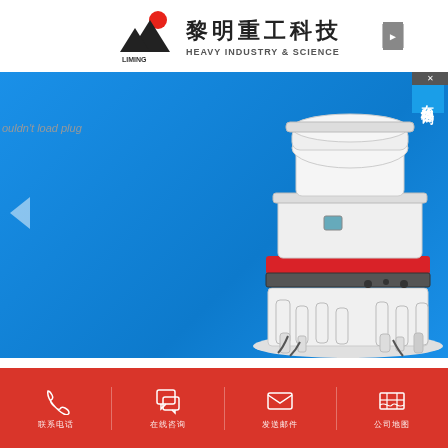[Figure (logo): Liming Heavy Industry & Science logo with red circle sun, black triangle mountain, and Chinese/English text: 黎明重工科技 LIMING HEAVY INDUSTRY & SCIENCE]
[Figure (photo): Screenshot of Liming Heavy Industry website showing a large blue banner with an industrial cone crusher machine (white and red) on the right side, and a plugin error message 'ouldn't load plug' on the left. A right-side blue panel shows Chinese text '在线咨询' (online consultation). Navigation arrows visible.]
[Figure (infographic): Red footer bar with four white icons and Chinese labels: phone (联系电话), chat bubble (在线咨询), envelope (发送邮件), map/location (公司地图)]